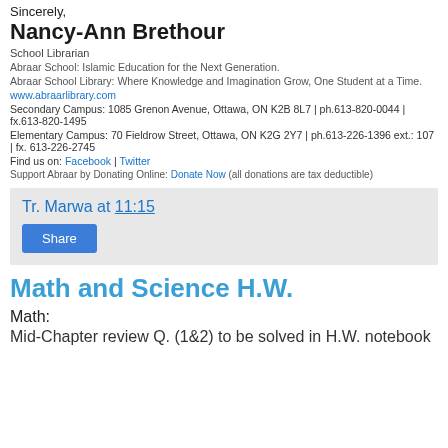Sincerely,
Nancy-Ann Brethour
School Librarian
Abraar School: Islamic Education for the Next Generation.
Abraar School Library: Where Knowledge and Imagination Grow, One Student at a Time.
www.abraarlibrary.com
Secondary Campus: 1085 Grenon Avenue, Ottawa, ON K2B 8L7 | ph.613-820-0044 | fx.613-820-1495
Elementary Campus: 70 Fieldrow Street, Ottawa, ON K2G 2Y7 | ph.613-226-1396 ext.: 107 | fx. 613-226-2745
Find us on: Facebook | Twitter
Support Abraar by Donating Online: Donate Now (all donations are tax deductible)
Tr. Marwa at 11:15
Share
Math and Science H.W.
Math:
Mid-Chapter review Q. (1&2) to be solved in H.W. notebook